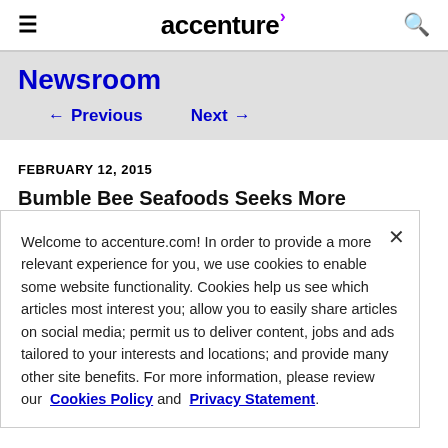accenture
Newsroom
← Previous   Next →
FEBRUARY 12, 2015
Bumble Bee Seafoods Seeks More Effective
Welcome to accenture.com! In order to provide a more relevant experience for you, we use cookies to enable some website functionality. Cookies help us see which articles most interest you; allow you to easily share articles on social media; permit us to deliver content, jobs and ads tailored to your interests and locations; and provide many other site benefits. For more information, please review our Cookies Policy and Privacy Statement.